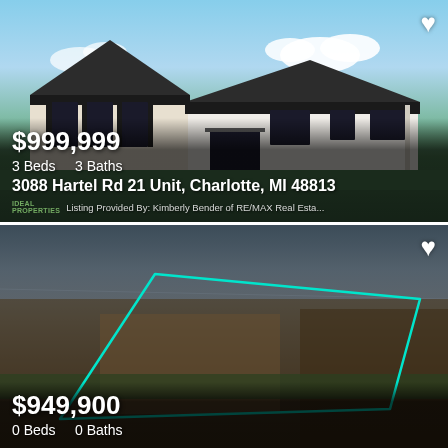[Figure (photo): Exterior photo of a modern farmhouse-style home with white brick facade, dark roof, and large windows. Blue sky with clouds in background, green lawn in front.]
$999,999
3 Beds    3 Baths
3088 Hartel Rd 21 Unit, Charlotte, MI 48813
Listing Provided By: Kimberly Bender of RE/MAX Real Esta...
[Figure (photo): Aerial drone photo of a large parcel of farmland outlined with a teal/green polygon border, dark sky and fields visible.]
$949,900
0 Beds    0 Baths